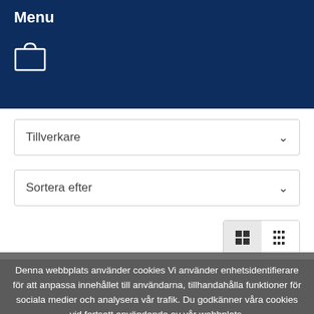Menu
[Figure (screenshot): Shopping bag icon in white on dark blue navigation bar]
Tillverkare
Sortera efter
[Figure (other): View toggle buttons: grid view (active) and list view]
Denna webbplats använder cookies Vi använder enhetsidentifierare för att anpassa innehållet till användarna, tillhandahålla funktioner för sociala medier och analysera vår trafik. Du godkänner våra cookies vid fortsatt användande av vår webbplats.
Acceptera cookies (rekommenderas)
Avvisa cookies